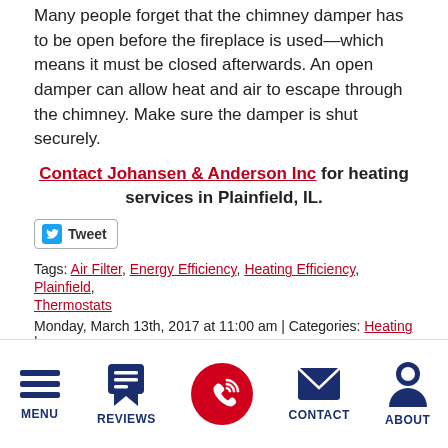Many people forget that the chimney damper has to be open before the fireplace is used—which means it must be closed afterwards. An open damper can allow heat and air to escape through the chimney. Make sure the damper is shut securely.
Contact Johansen & Anderson Inc for heating services in Plainfield, IL.
[Figure (screenshot): Tweet button with Twitter bird icon]
Tags: Air Filter, Energy Efficiency, Heating Efficiency, Plainfield, Thermostats
Monday, March 13th, 2017 at 11:00 am | Categories: Heating |
« 4 Facts to Know about Your Boiler   Get Ready for Warmer Weather With an AC Tune-Up »
[Figure (screenshot): Bottom navigation bar with Menu, Reviews, Call (red phone icon), Contact, and About icons]